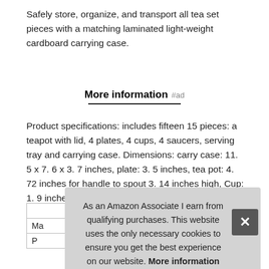Safely store, organize, and transport all tea set pieces with a matching laminated light-weight cardboard carrying case.
More information #ad
Product specifications: includes fifteen 15 pieces: a teapot with lid, 4 plates, 4 cups, 4 saucers, serving tray and carrying case. Dimensions: carry case: 11. 5 x 7. 6 x 3. 7 inches, plate: 3. 5 inches, tea pot: 4. 72 inches for handle to spout 3. 14 inches high, Cup: 1. 9 inches, Saucer 2. 24 inches, Tray: 9. 4 inches x 6. 1 inches.
| Read... | levelkesser... |
| Ma |  |
| P |  |
As an Amazon Associate I earn from qualifying purchases. This website uses the only necessary cookies to ensure you get the best experience on our website. More information